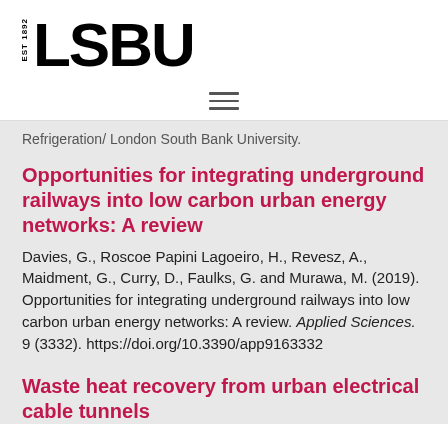[Figure (logo): LSBU logo with EST 1892 text and bold LSBU wordmark]
[Figure (other): Hamburger menu icon with three horizontal lines]
Refrigeration/ London South Bank University.
Opportunities for integrating underground railways into low carbon urban energy networks: A review
Davies, G., Roscoe Papini Lagoeiro, H., Revesz, A., Maidment, G., Curry, D., Faulks, G. and Murawa, M. (2019). Opportunities for integrating underground railways into low carbon urban energy networks: A review. Applied Sciences. 9 (3332). https://doi.org/10.3390/app9163332
Waste heat recovery from urban electrical cable tunnels